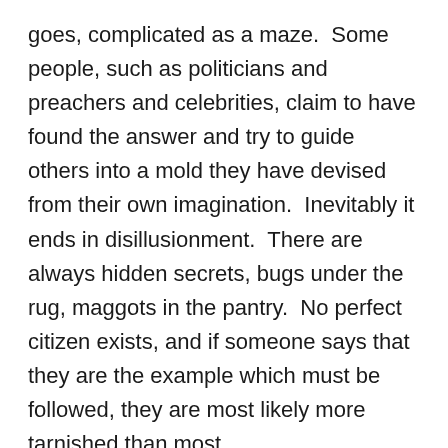goes, complicated as a maze.  Some people, such as politicians and preachers and celebrities, claim to have found the answer and try to guide others into a mold they have devised from their own imagination.  Inevitably it ends in disillusionment.  There are always hidden secrets, bugs under the rug, maggots in the pantry.  No perfect citizen exists, and if someone says that they are the example which must be followed, they are most likely more tarnished than most.
What to do then?  We seek answers.  We want to do right, be right.  Our role models collapse one by one; we cannot trust them.
A similar situation exists with the young.  They want to be cool, be hip, be whatever the current slang says you should be.  So they dress a certain way, walk a certain